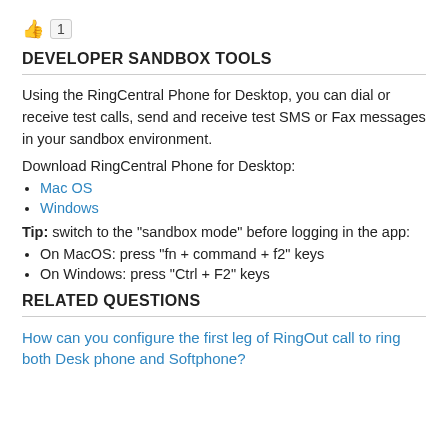[Figure (other): Thumbs up icon with count badge showing 1]
DEVELOPER SANDBOX TOOLS
Using the RingCentral Phone for Desktop, you can dial or receive test calls, send and receive test SMS or Fax messages in your sandbox environment.
Download RingCentral Phone for Desktop:
Mac OS
Windows
Tip: switch to the "sandbox mode" before logging in the app:
On MacOS: press "fn + command + f2" keys
On Windows: press "Ctrl + F2" keys
RELATED QUESTIONS
How can you configure the first leg of RingOut call to ring both Desk phone and Softphone?